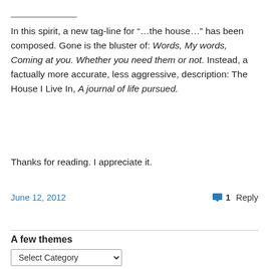In this spirit, a new tag-line for “…the house…” has been composed. Gone is the bluster of: Words, My words, Coming at you. Whether you need them or not. Instead, a factually more accurate, less aggressive, description: The House I Live In, A journal of life pursued.
Thanks for reading. I appreciate it.
June 12, 2012
1 Reply
A few themes
Select Category